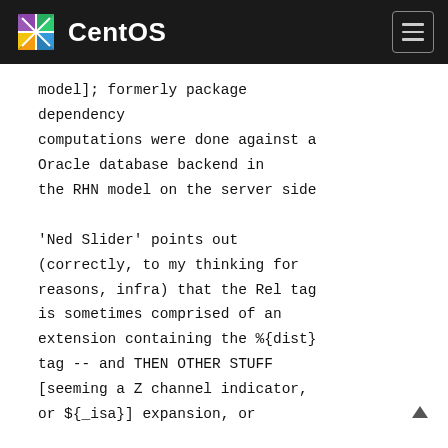CentOS
model]; formerly package dependency
computations were done against a Oracle database backend in the RHN model on the server side

'Ned Slider' points out (correctly, to my thinking for reasons, infra) that the Rel tag is sometimes comprised of an extension containing the %{dist} tag -- and THEN OTHER STUFF [seeming a Z channel indicator, or ${_isa}] expansion, or